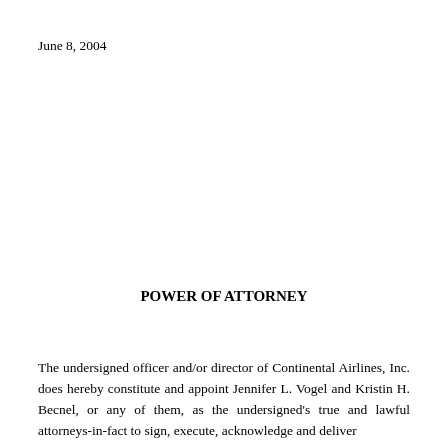June 8, 2004
POWER OF ATTORNEY
The undersigned officer and/or director of Continental Airlines, Inc. does hereby constitute and appoint Jennifer L. Vogel and Kristin H. Becnel, or any of them, as the undersigned's true and lawful attorneys-in-fact to sign, execute, acknowledge and deliver